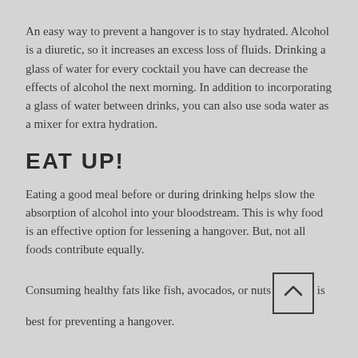An easy way to prevent a hangover is to stay hydrated. Alcohol is a diuretic, so it increases an excess loss of fluids. Drinking a glass of water for every cocktail you have can decrease the effects of alcohol the next morning. In addition to incorporating a glass of water between drinks, you can also use soda water as a mixer for extra hydration.
EAT UP!
Eating a good meal before or during drinking helps slow the absorption of alcohol into your bloodstream. This is why food is an effective option for lessening a hangover. But, not all foods contribute equally.
Consuming healthy fats like fish, avocados, or nuts is best for preventing a hangover.